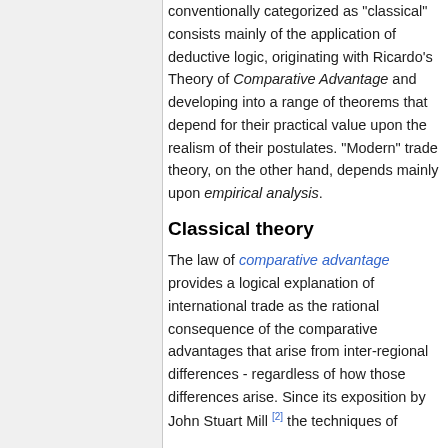conventionally categorized as "classical" consists mainly of the application of deductive logic, originating with Ricardo's Theory of Comparative Advantage and developing into a range of theorems that depend for their practical value upon the realism of their postulates. "Modern" trade theory, on the other hand, depends mainly upon empirical analysis.
Classical theory
The law of comparative advantage provides a logical explanation of international trade as the rational consequence of the comparative advantages that arise from inter-regional differences - regardless of how those differences arise. Since its exposition by John Stuart Mill [2] the techniques of